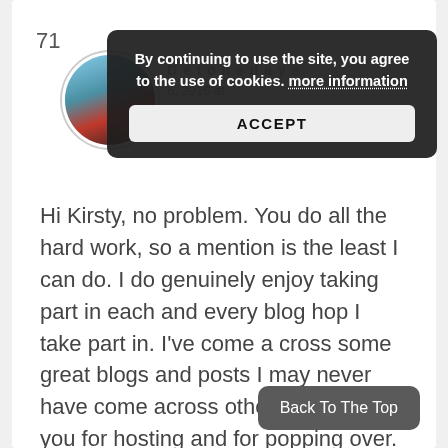[Figure (screenshot): Cookie consent popup overlay on a blog comment page. Dark rounded-rectangle popup with text: 'By continuing to use the site, you agree to the use of cookies. more information' and an ACCEPT button.]
71
Hi Kirsty, no problem. You do all the hard work, so a mention is the least I can do. I do genuinely enjoy taking part in each and every blog hop I take part in. I've come a cross some great blogs and posts I may never have come across otherwise. Thank you for hosting and for popping over. xx
Back To The Top